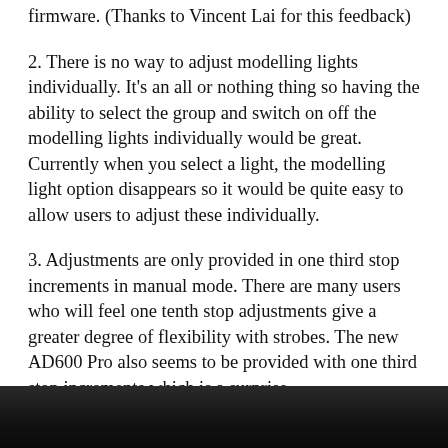firmware. (Thanks to Vincent Lai for this feedback)
2. There is no way to adjust modelling lights individually. It's an all or nothing thing so having the ability to select the group and switch on off the modelling lights individually would be great. Currently when you select a light, the modelling light option disappears so it would be quite easy to allow users to adjust these individually.
3. Adjustments are only provided in one third stop increments in manual mode. There are many users who will feel one tenth stop adjustments give a greater degree of flexibility with strobes. The new AD600 Pro also seems to be provided with one third stop increments which is a surprise.
[Figure (photo): Dark photograph, partially visible at bottom of page, appears to show a person or portrait]